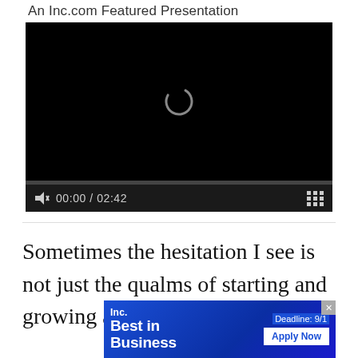An Inc.com Featured Presentation
[Figure (screenshot): Video player showing a black screen with a loading spinner arc in the center. A thin progress bar is shown below the screen. Controls show a muted speaker icon, timestamp '00:00 / 02:42', and a grid/menu icon on the right.]
Sometimes the hesitation I see is not just the qualms of starting and growing a business, but a
[Figure (other): Advertisement banner for Inc. 'Best in Business' award. Blue gradient background. Left side shows Inc. logo and 'Best in Business' text. Right side shows 'Deadline: 9/1' and 'Apply Now' button. Has an X close button in top right.]